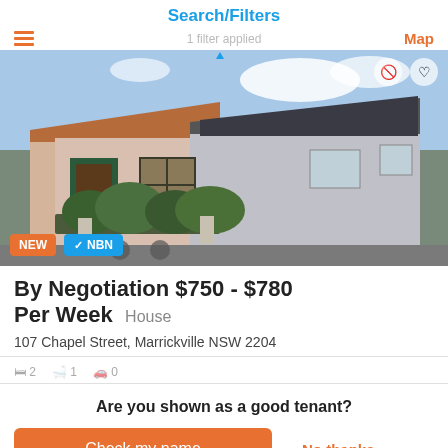Search/Filters
[Figure (photo): Exterior photo of a terracotta-roofed terrace house with green front door, barred window, and hedge garden in front. Badges: NEW (orange) and NBN (blue with checkmark).]
By Negotiation $750 - $780 Per Week   House
107 Chapel Street, Marrickville NSW 2204
Are you shown as a good tenant?
Check my name
No thanks